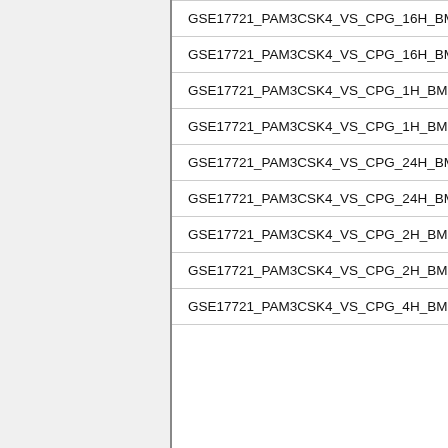| GSE17721_PAM3CSK4_VS_CPG_16H_BMDM_ |
| GSE17721_PAM3CSK4_VS_CPG_16H_BMDM_ |
| GSE17721_PAM3CSK4_VS_CPG_1H_BMDM_ |
| GSE17721_PAM3CSK4_VS_CPG_1H_BMDM_ |
| GSE17721_PAM3CSK4_VS_CPG_24H_BMDM_ |
| GSE17721_PAM3CSK4_VS_CPG_24H_BMDM_ |
| GSE17721_PAM3CSK4_VS_CPG_2H_BMDM_ |
| GSE17721_PAM3CSK4_VS_CPG_2H_BMDM_ |
| GSE17721_PAM3CSK4_VS_CPG_4H_BMDM_ |